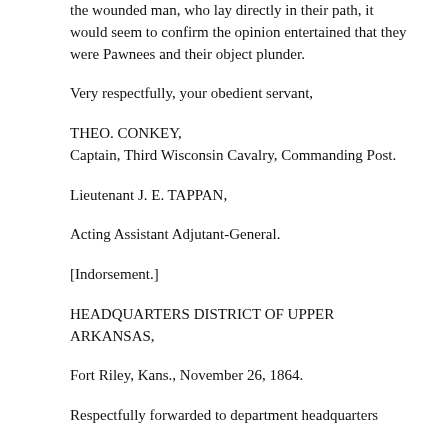the wounded man, who lay directly in their path, it would seem to confirm the opinion entertained that they were Pawnees and their object plunder.
Very respectfully, your obedient servant,
THEO. CONKEY,
Captain, Third Wisconsin Cavalry, Commanding Post.
Lieutenant J. E. TAPPAN,
Acting Assistant Adjutant-General.
[Indorsement.]
HEADQUARTERS DISTRICT OF UPPER ARKANSAS,
Fort Riley, Kans., November 26, 1864.
Respectfully forwarded to department headquarters